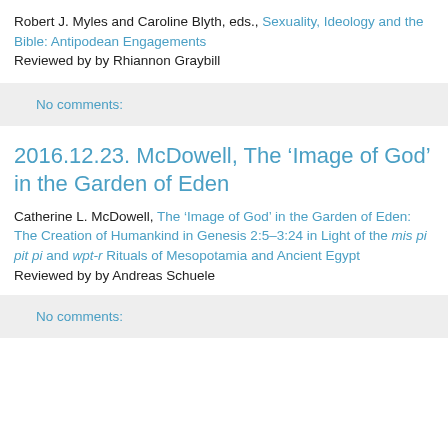Robert J. Myles and Caroline Blyth, eds., Sexuality, Ideology and the Bible: Antipodean Engagements
Reviewed by by Rhiannon Graybill
No comments:
2016.12.23. McDowell, The 'Image of God' in the Garden of Eden
Catherine L. McDowell, The 'Image of God' in the Garden of Eden: The Creation of Humankind in Genesis 2:5–3:24 in Light of the mis pi pit pi and wpt-r Rituals of Mesopotamia and Ancient Egypt
Reviewed by by Andreas Schuele
No comments: